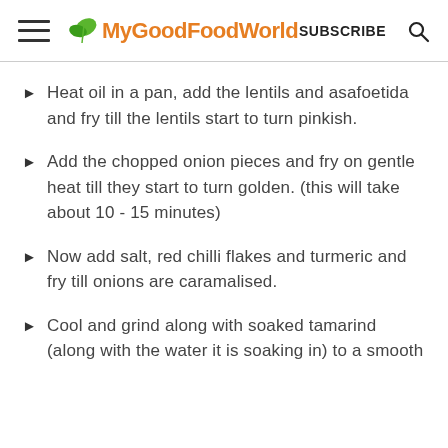MyGoodFoodWorld | SUBSCRIBE
Heat oil in a pan, add the lentils and asafoetida and fry till the lentils start to turn pinkish.
Add the chopped onion pieces and fry on gentle heat till they start to turn golden. (this will take about 10 - 15 minutes)
Now add salt, red chilli flakes and turmeric and fry till onions are caramalised.
Cool and grind along with soaked tamarind (along with the water it is soaking in) to a smooth